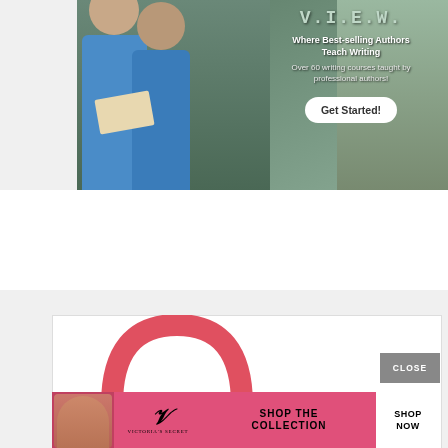[Figure (photo): Advertisement banner for a writing education platform. Shows children in blue t-shirts reading books on the left. White text on right reads: 'Where Best-selling Authors Teach Writing', 'Over 60 writing courses taught by professional authors!', and a 'Get Started!' button.]
[Figure (photo): Victoria's Secret advertisement banner showing a pink background with model, Victoria's Secret script logo, text 'SHOP THE COLLECTION', and a 'SHOP NOW' button. A red handbag is partially visible above the banner. A 'CLOSE' button appears in gray.]